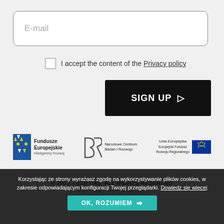E-mail
I accept the content of the Privacy policy
SIGN UP ▷
[Figure (logo): Fundusze Europejskie Inteligentny Rozwój logo with colorful flag icon]
[Figure (logo): Narodowe Centrum Badań i Rozwoju logo with stylized BR mark]
[Figure (logo): Unia Europejska Europejski Fundusz Rozwoju Regionalnego logo with EU flag]
© 2022 - BZB UAS. ALL RIGHTS RESERVED
POLITYKA PRYWATNOŚCI
CREATED BY QUALITY PIXELS
Korzystając ze strony wyrażasz zgodę na wykorzystywanie plików cookies, w zakresie odpowiadającym konfiguracji Twojej przeglądarki. Dowiedz się więcej
OK, ROZUMIEM →